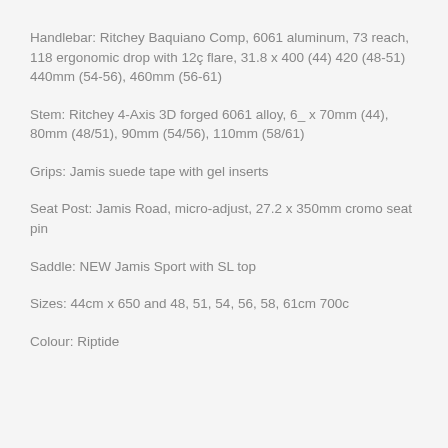Handlebar: Ritchey Baquiano Comp, 6061 aluminum, 73 reach, 118 ergonomic drop with 12ç flare, 31.8 x 400 (44) 420 (48-51) 440mm (54-56), 460mm (56-61)
Stem: Ritchey 4-Axis 3D forged 6061 alloy, 6_ x 70mm (44), 80mm (48/51), 90mm (54/56), 110mm (58/61)
Grips: Jamis suede tape with gel inserts
Seat Post: Jamis Road, micro-adjust, 27.2 x 350mm cromo seat pin
Saddle: NEW Jamis Sport with SL top
Sizes: 44cm x 650 and 48, 51, 54, 56, 58, 61cm 700c
Colour: Riptide